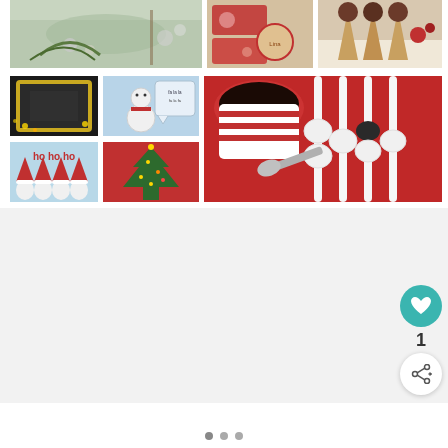[Figure (photo): Christmas table setting with pine branches and ornaments]
[Figure (photo): Christmas gift tags printable with Santa illustrations]
[Figure (photo): Chocolate-dipped waffle cones with berries in a basket]
[Figure (photo): Gold ornate picture frame with chalkboard, Christmas decor]
[Figure (photo): Snowman cookie with speech bubble on blue background]
[Figure (photo): Ho ho ho sign with Santa hats on blue background]
[Figure (photo): Christmas tree on red background]
[Figure (photo): Marshmallow hot chocolate stirrers on red background with mug]
[Figure (photo): White blank area / content loading area]
[Figure (infographic): Navigation dots at bottom: three circles indicating page position]
[Figure (infographic): Teal circular heart/favorite button with count 1 and share button]